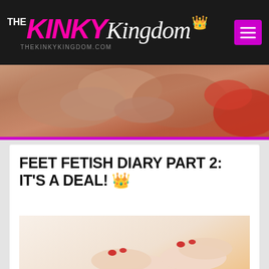THE KINKY Kingdom – THEKINKYKINGDOM.COM
[Figure (photo): Close-up photo of a person's torso and hands wearing red lingerie]
FEET FETISH DIARY PART 2: IT'S A DEAL! 👑
[Figure (photo): Photo of bare feet with red toenails and hands with red fingernails against an orange pillow background]